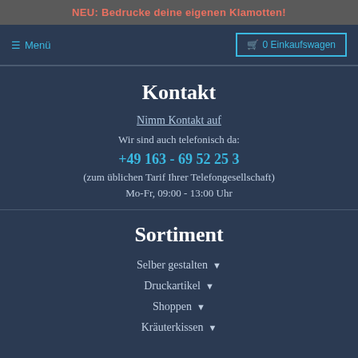NEU: Bedrucke deine eigenen Klamotten!
≡ Menü   0 Einkaufswagen
Kontakt
Nimm Kontakt auf
Wir sind auch telefonisch da:
+49 163 - 69 52 25 3
(zum üblichen Tarif Ihrer Telefongesellschaft)
Mo-Fr, 09:00 - 13:00 Uhr
Sortiment
Selber gestalten ▾
Druckartikel ▾
Shoppen ▾
Kräuterkissen ▾